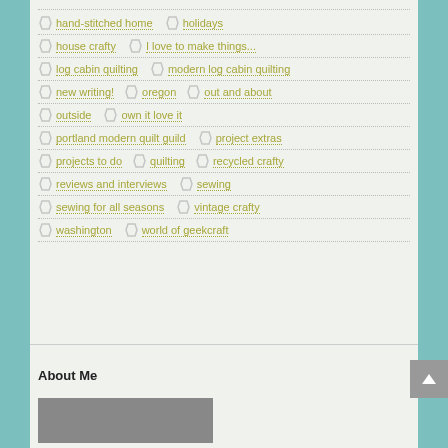hand-stitched home
holidays
house crafty
I love to make things...
log cabin quilting
modern log cabin quilting
new writing!
oregon
out and about
outside
own it love it
portland modern quilt guild
project extras
projects to do
quilting
recycled crafty
reviews and interviews
sewing
sewing for all seasons
vintage crafty
washington
world of geekcraft
About Me